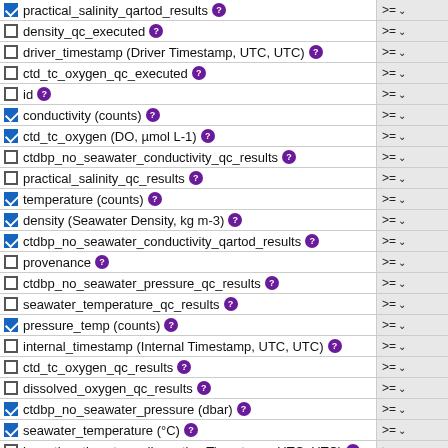practical_salinity_qartod_results [checked] >= dropdown
density_qc_executed [unchecked] >= dropdown
driver_timestamp (Driver Timestamp, UTC, UTC) [unchecked] >= dropdown
ctd_tc_oxygen_qc_executed [unchecked] >= dropdown
id [unchecked] >= dropdown
conductivity (counts) [checked] >= dropdown
ctd_tc_oxygen (DO, µmol L-1) [checked] >= dropdown
ctdbp_no_seawater_conductivity_qc_results [unchecked] >= dropdown
practical_salinity_qc_results [unchecked] >= dropdown
temperature (counts) [checked] >= dropdown
density (Seawater Density, kg m-3) [checked] >= dropdown
ctdbp_no_seawater_conductivity_qartod_results [checked] >= dropdown
provenance [unchecked] >= dropdown
ctdbp_no_seawater_pressure_qc_results [unchecked] >= dropdown
seawater_temperature_qc_results [unchecked] >= dropdown
pressure_temp (counts) [checked] >= dropdown
internal_timestamp (Internal Timestamp, UTC, UTC) [unchecked] >= dropdown
ctd_tc_oxygen_qc_results [unchecked] >= dropdown
dissolved_oxygen_qc_results [unchecked] >= dropdown
ctdbp_no_seawater_pressure (dbar) [checked] >= dropdown
seawater_temperature (°C) [checked] >= dropdown
ingestion_timestamp (Ingestion Timestamp, UTC, UTC) [unchecked] >= dropdown
port_timestamp (Port Timestamp, UTC, UTC) [unchecked] >= dropdown
ctdbp_no_seawater_conductivity (S m-1) [checked] >= dropdown